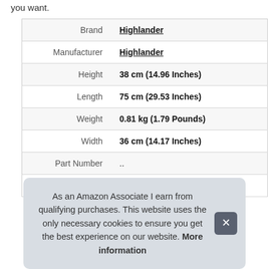you want.
| Brand | Highlander |
| Manufacturer | Highlander |
| Height | 38 cm (14.96 Inches) |
| Length | 75 cm (29.53 Inches) |
| Weight | 0.81 kg (1.79 Pounds) |
| Width | 36 cm (14.17 Inches) |
| Part Number | .. |
| Model |  |
As an Amazon Associate I earn from qualifying purchases. This website uses the only necessary cookies to ensure you get the best experience on our website. More information